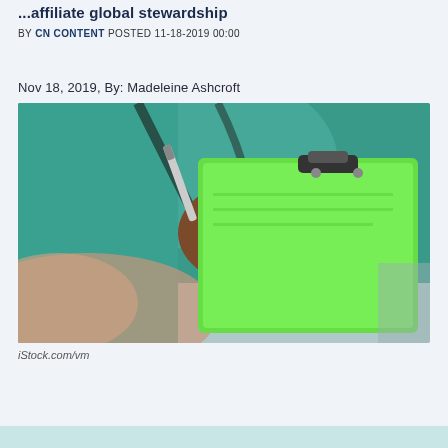...affiliate global stewardship
BY CN CONTENT POSTED 11-18-2019 00:00
Nov 18, 2019, By: Madeleine Ashcroft
[Figure (photo): Close-up of a healthcare worker in teal scrubs with a stethoscope, writing on a bright green clipboard with a pen, held with both hands.]
iStock.com/vm